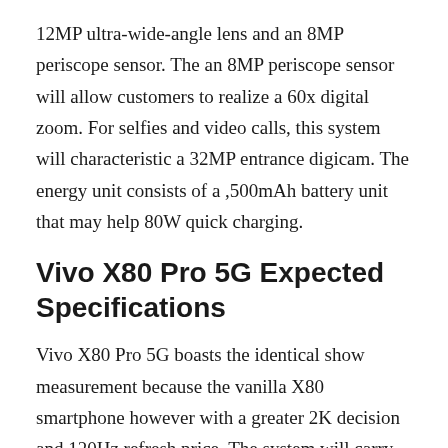12MP ultra-wide-angle lens and an 8MP periscope sensor. The an 8MP periscope sensor will allow customers to realize a 60x digital zoom. For selfies and video calls, this system will characteristic a 32MP entrance digicam. The energy unit consists of a ,500mAh battery unit that may help 80W quick charging.
Vivo X80 Pro 5G Expected Specifications
Vivo X80 Pro 5G boasts the identical show measurement because the vanilla X80 smartphone however with a greater 2K decision and 120Hz refresh price. The system will carry below its hood a Qualcomm Snapdragon 8 Gen 1 processor which shall be backed by as much as 12 GB RAM and 256GB UFS 3.1 inner storage.